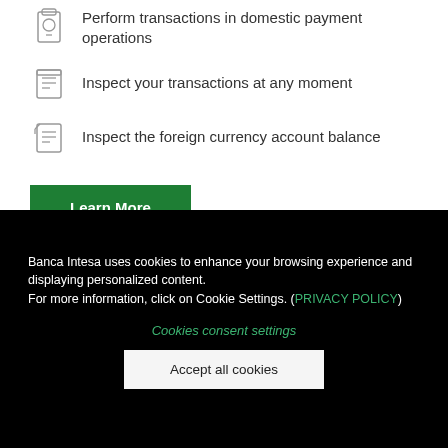Perform transactions in domestic payment operations
Inspect your transactions at any moment
Inspect the foreign currency account balance
Learn More
Banca Intesa uses cookies to enhance your browsing experience and displaying personalized content. For more information, click on Cookie Settings. (PRIVACY POLICY)
Cookies consent settings
Accept all cookies